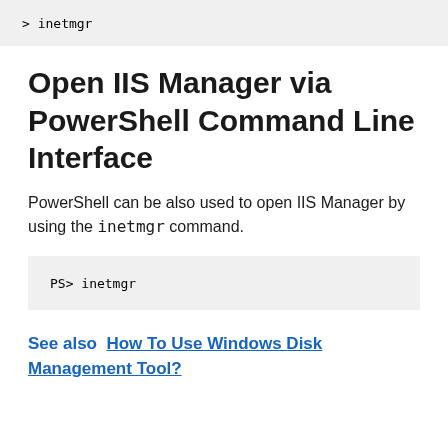> inetmgr
Open IIS Manager via PowerShell Command Line Interface
PowerShell can be also used to open IIS Manager by using the inetmgr command.
PS> inetmgr
See also  How To Use Windows Disk Management Tool?